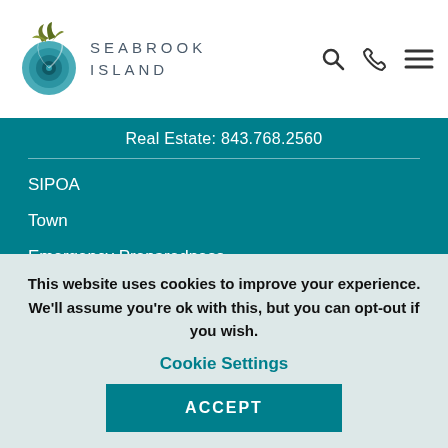SEABROOK ISLAND
Real Estate: 843.768.2560
SIPOA
Town
Emergency Preparedness
Careers
This website uses cookies to improve your experience. We'll assume you're ok with this, but you can opt-out if you wish.
Cookie Settings
ACCEPT